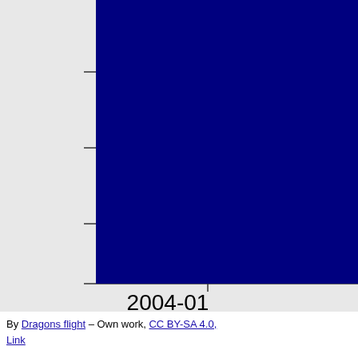[Figure (continuous-plot): Partial view of a bar or area chart with a large dark navy blue filled region taking up almost the entire chart area. The y-axis has tick marks visible on the left. X-axis shows dates: 2004-01, 2006-01, and a partially visible third date starting with '200'. The background of the chart area is light gray.]
By Dragons flight – Own work, CC BY-SA 4.0, Link
[Figure (continuous-plot): Bottom portion of a second chart visible. Title reads 'Edit Perc' (truncated). X-axis tick marks visible at approximately 2004-01 and 2006-01 positions. Light gray background.]